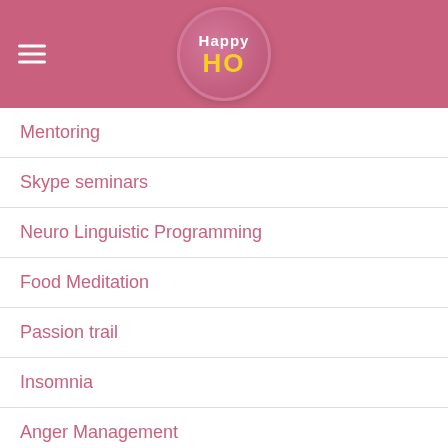Happy Ho logo with navigation hamburger menu
Mentoring
Skype seminars
Neuro Linguistic Programming
Food Meditation
Passion trail
Insomnia
Anger Management
Blog
Get Connected
Happy Ho Consultants